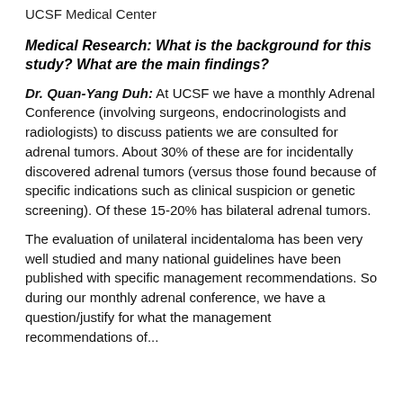UCSF Medical Center
Medical Research: What is the background for this study? What are the main findings?
Dr. Quan-Yang Duh: At UCSF we have a monthly Adrenal Conference (involving surgeons, endocrinologists and radiologists) to discuss patients we are consulted for adrenal tumors. About 30% of these are for incidentally discovered adrenal tumors (versus those found because of specific indications such as clinical suspicion or genetic screening). Of these 15-20% has bilateral adrenal tumors.
The evaluation of unilateral incidentaloma has been very well studied and many national guidelines have been published with specific management recommendations. So during our monthly adrenal conference, we have a question/justify for what the management recommendations of...